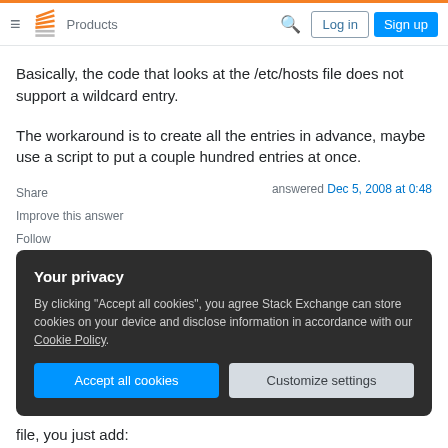≡ [Stack Overflow logo] Products 🔍 Log in Sign up
Basically, the code that looks at the /etc/hosts file does not support a wildcard entry.
The workaround is to create all the entries in advance, maybe use a script to put a couple hundred entries at once.
Share
Improve this answer
Follow
answered Dec 5, 2008 at 0:48
community wiki
Your privacy
By clicking "Accept all cookies", you agree Stack Exchange can store cookies on your device and disclose information in accordance with our Cookie Policy.
Accept all cookies  Customize settings
file, you just add: